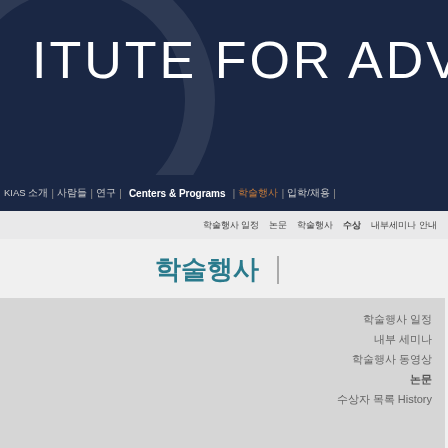ITUTE FOR ADVAN
KIAS 소개 | 사람들 | 연구 | Centers & Programs | 학술행사 | 입학/채용 |
학술행사 일정 논문 수상 내부세미나 안내
학술행사
학술행사 일정
내부 세미나
학술행사 동영상
논문
수상자 목록 History
논문
VIEW  All  수학부
TITLE  Blind prediction of ho CASP13-CAPRI expe